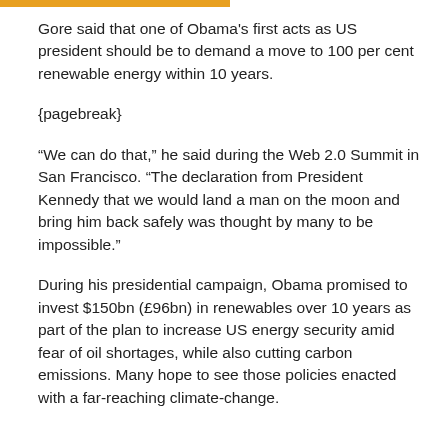Gore said that one of Obama's first acts as US president should be to demand a move to 100 per cent renewable energy within 10 years.
{pagebreak}
“We can do that,” he said during the Web 2.0 Summit in San Francisco. “The declaration from President Kennedy that we would land a man on the moon and bring him back safely was thought by many to be impossible.”
During his presidential campaign, Obama promised to invest $150bn (£96bn) in renewables over 10 years as part of the plan to increase US energy security amid fear of oil shortages, while also cutting carbon emissions. Many hope to see those policies enacted with a far-reaching climate-change.